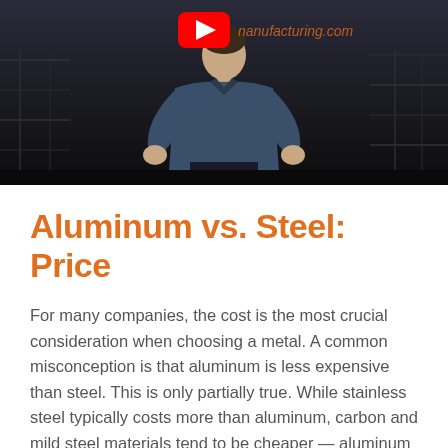[Figure (screenshot): Video thumbnail or embedded video player showing a person in a blue shirt against a dark industrial/warehouse background. A YouTube play button logo is visible in the upper center, and 'nanufacturing.com' text appears in orange/italic at the upper right.]
Aluminum vs. Steel: Price
For many companies, the cost is the most crucial consideration when choosing a metal. A common misconception is that aluminum is less expensive than steel. This is only partially true. While stainless steel typically costs more than aluminum, carbon and mild steel materials tend to be cheaper — aluminum is somewhere in the middle. Keep in mind that factors such as tariffs and supply and demand can influence the cost of